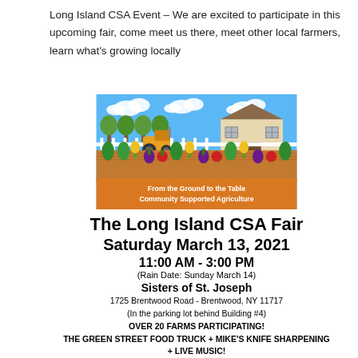Long Island CSA Event – We are excited to participate in this upcoming fair, come meet us there, meet other local farmers, learn what's growing locally
[Figure (illustration): Farm illustration showing a tractor, barn, trees, and vegetable garden rows with text 'From the Ground to the Table Community Supported Agriculture']
The Long Island CSA Fair Saturday March 13, 2021
11:00 AM - 3:00 PM
(Rain Date: Sunday March 14)
Sisters of St. Joseph
1725 Brentwood Road - Brentwood, NY 11717
(In the parking lot behind Building #4)
OVER 20 FARMS PARTICIPATING!
THE GREEN STREET FOOD TRUCK + MIKE'S KNIFE SHARPENING
+ LIVE MUSIC!